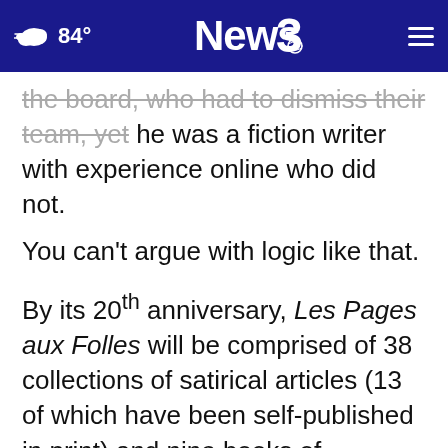84° News3 [navigation bar]
the board, who had to dismiss their team, yet he was a fiction writer with experience online who did not.
You can't argue with logic like that.
By its 20th anniversary, Les Pages aux Folles will be comprised of 38 collections of satirical articles (13 of which have been self-published in print) and nine books of cartoons. It will contain over 3,500 individual pieces of writing comprised of between two and a quarter and two and a half million words per quarter per year.